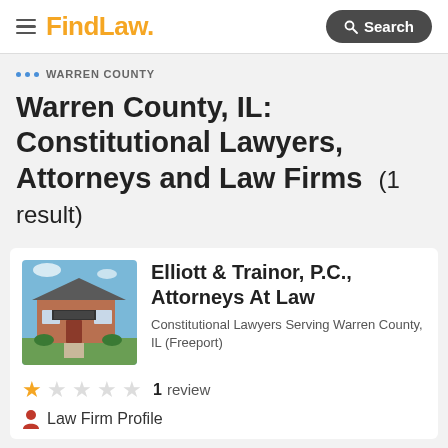FindLaw — Search
WARREN COUNTY
Warren County, IL: Constitutional Lawyers, Attorneys and Law Firms (1 result)
[Figure (photo): Photo of Elliott & Trainor, P.C. law firm building — a brick office building with a gray roof and landscaping]
Elliott & Trainor, P.C., Attorneys At Law
Constitutional Lawyers Serving Warren County, IL (Freeport)
1 review
Law Firm Profile